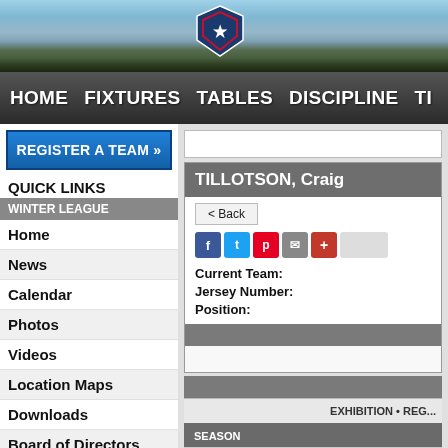[Figure (photo): Mountain landscape banner header with snow-capped mountains and a sports league shield logo]
HOME   FIXTURES   TABLES   DISCIPLINE   TI...
REGISTER A TEAM »
QUICK LINKS
WINTER LEAGUE
Home
News
Calendar
Photos
Videos
Location Maps
Downloads
Board of Directors
COVID Guidelines
TILLOTSON, Craig
< Back
Current Team:
Jersey Number:
Position:
EXHIBITION • REG...
SEASON
Winter 2022/2023